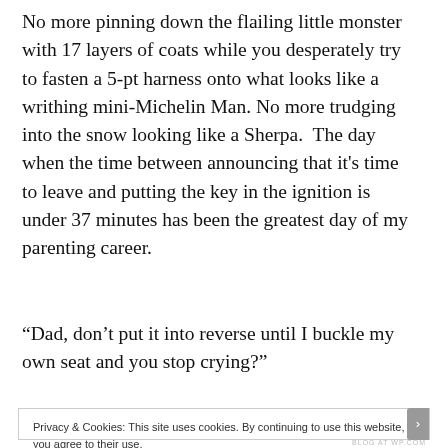No more pinning down the flailing little monster with 17 layers of coats while you desperately try to fasten a 5-pt harness onto what looks like a writhing mini-Michelin Man. No more trudging into the snow looking like a Sherpa.  The day when the time between announcing that it’s time to leave and putting the key in the ignition is under 37 minutes has been the greatest day of my parenting career.
“Dad, don’t put it into reverse until I buckle my own seat and you stop crying?”
Privacy & Cookies: This site uses cookies. By continuing to use this website, you agree to their use.
To find out more, including how to control cookies, see here: Cookie Policy
Close and accept